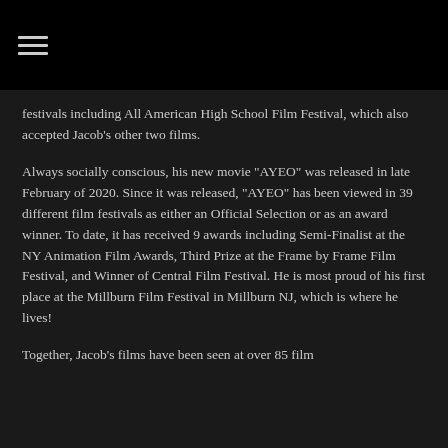☰
festivals including All American High School Film Festival, which also accepted Jacob's other two films.
Always socially conscious, his new movie "AYEO" was released in late February of 2020. Since it was released, "AYEO" has been viewed in 39 different film festivals as either an Official Selection or as an award winner. To date, it has received 9 awards including Semi-Finalist at the NY Animation Film Awards, Third Prize at the Frame by Frame Film Festival, and Winner of Central Film Festival. He is most proud of his first place at the Millburn Film Festival in Millburn NJ, which is where he lives!
Together, Jacob's films have been seen at over 85 film